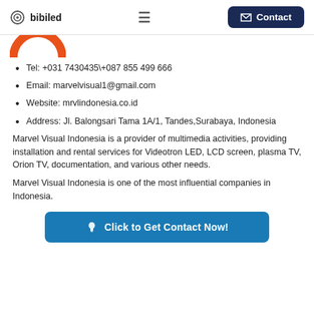bibiled   ≡   Contact
[Figure (logo): Partial circular orange arc logo at top]
Tel: +031 7430435\+087 855 499 666
Email: marvelvisual1@gmail.com
Website: mrvlindonesia.co.id
Address: Jl. Balongsari Tama 1A/1, Tandes,Surabaya, Indonesia
Marvel Visual Indonesia is a provider of multimedia activities, providing installation and rental services for Videotron LED, LCD screen, plasma TV, Orion TV, documentation, and various other needs.
Marvel Visual Indonesia is one of the most influential companies in Indonesia.
👆 Click to Get Contact Now!